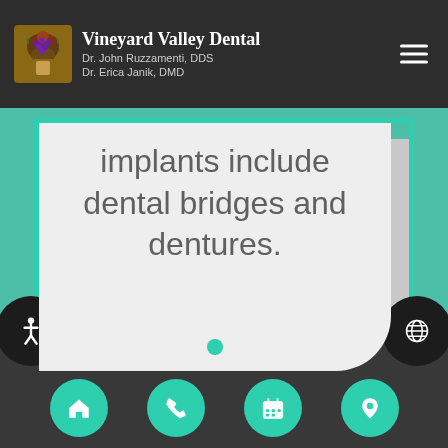Vineyard Valley Dental
Dr. John Ruzzamenti, DDS
Dr. Erica Janik, DMD
implants include dental bridges and dentures.
[Figure (screenshot): Mobile website UI showing a dental practice page with a light gray rounded card displaying text about implants, dental bridges and dentures, with a teal/green border and a slide indicator dot.]
Navigation bar with home, phone, calendar, and location icons